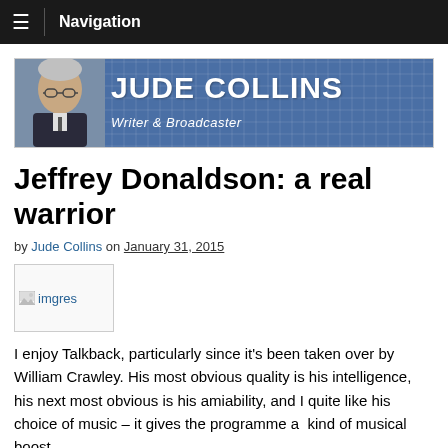≡  Navigation
[Figure (logo): Jude Collins banner with photo, title 'JUDE COLLINS' and subtitle 'Writer & Broadcaster' on blue plaid background]
Jeffrey Donaldson: a real warrior
by Jude Collins on January 31, 2015
[Figure (photo): imgres — broken image placeholder thumbnail]
I enjoy Talkback, particularly since it's been taken over by William Crawley. His most obvious quality is his intelligence, his next most obvious is his amiability, and I quite like his choice of music – it gives the programme a  kind of musical boost.